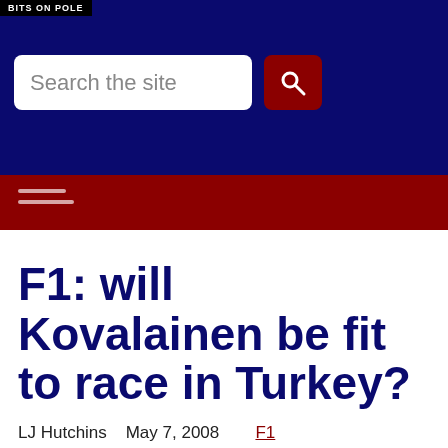BITS ON POLE
Search the site
F1: will Kovalainen be fit to race in Turkey?
LJ Hutchins   May 7, 2008   F1
David Coulthard, Formula One, Heikki Kovalainen, Honda, Jenson Button, Lewis Hamilton, McLaren, Red Bull Racing, Ross Brawn, Turkish Grand Prix